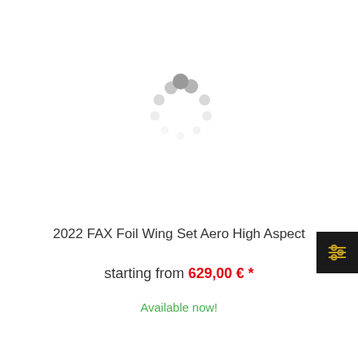[Figure (illustration): Circular loading spinner animation made of dots in varying shades of gray, arranged in a circle pattern]
[Figure (illustration): Dark square filter/settings button with golden sliders icon on the right edge]
2022 FAX Foil Wing Set Aero High Aspect
starting from 629,00 € *
Available now!